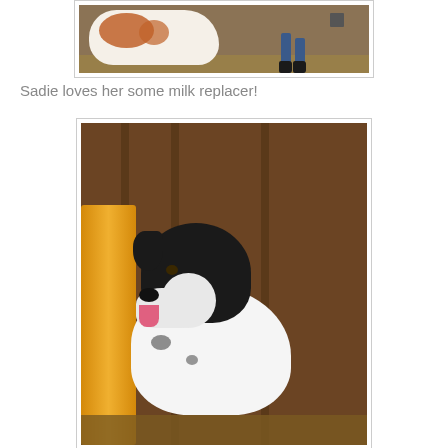[Figure (photo): A cow with brown and white spots in a barn with a person in blue jeans and black boots walking behind it. A bucket is visible in the background. Straw on the floor.]
Sadie loves her some milk replacer!
[Figure (photo): A black and white spotted dog licking a yellow bucket or feeder inside a barn. The dog's tongue is visible and pink. The barn has wooden plank walls and hay on the floor.]